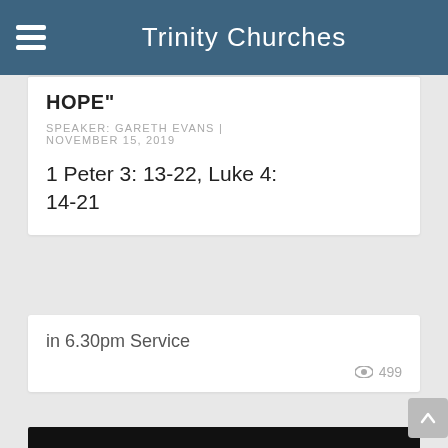Trinity Churches
HOPE"
SPEAKER: GARETH EVANS | NOVEMBER 15, 2019
1 Peter 3: 13-22, Luke 4: 14-21
in 6.30pm Service
499
[Figure (photo): Black background card with text 'Seven deadly sins – and the virtuous life' and 'SLOTH LUST' with a green leaf visible]